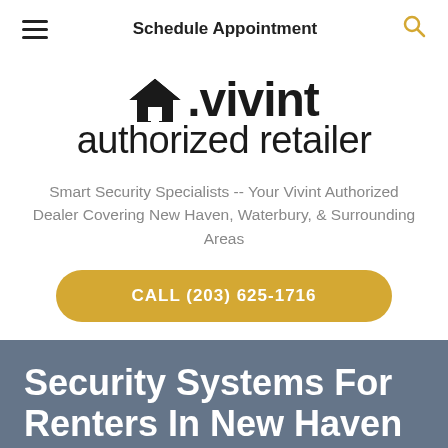Schedule Appointment
[Figure (logo): Vivint authorized retailer logo with house icon]
Smart Security Specialists -- Your Vivint Authorized Dealer Covering New Haven, Waterbury, & Surrounding Areas
CALL (203) 625-1716
Security Systems For Renters In New Haven
Apartment Security in New Haven Has Never Been Easier